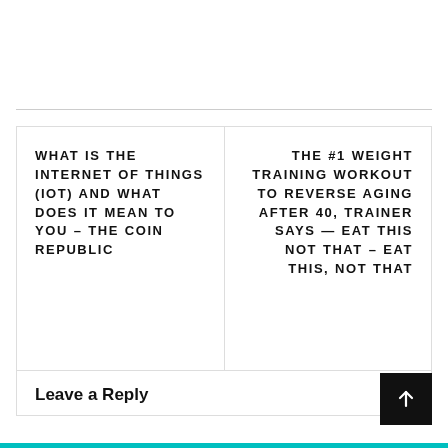WHAT IS THE INTERNET OF THINGS (IOT) AND WHAT DOES IT MEAN TO YOU – THE COIN REPUBLIC
THE #1 WEIGHT TRAINING WORKOUT TO REVERSE AGING AFTER 40, TRAINER SAYS — EAT THIS NOT THAT – EAT THIS, NOT THAT
Leave a Reply